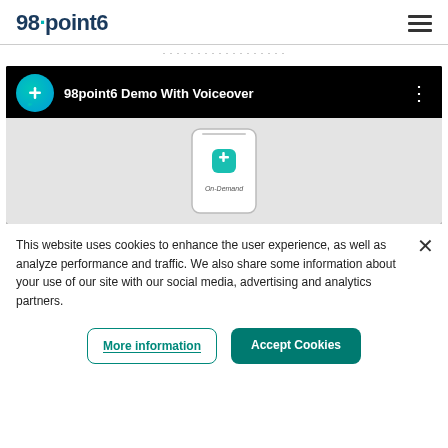98point6
[Figure (screenshot): Video thumbnail for '98point6 Demo With Voiceover' showing a phone mockup with the 98point6 app and 'On-Demand' text]
This website uses cookies to enhance the user experience, as well as analyze performance and traffic. We also share some information about your use of our site with our social media, advertising and analytics partners.
More information
Accept Cookies